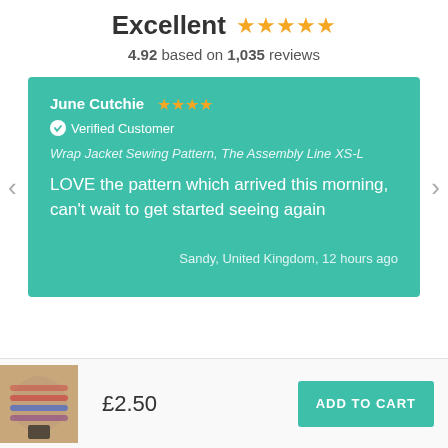Excellent ★★★★★
4.92 based on 1,035 reviews
June Cutchie ★★★★ · Verified Customer · Wrap Jacket Sewing Pattern, The Assembly Line XS-L · LOVE the pattern which arrived this morning, can't wait to get started seeing again · Sandy, United Kingdom, 12 hours ago
£2.50
ADD TO CART